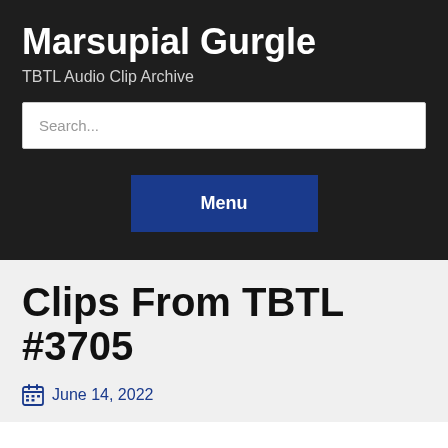Marsupial Gurgle
TBTL Audio Clip Archive
Search...
Menu
Clips From TBTL #3705
June 14, 2022